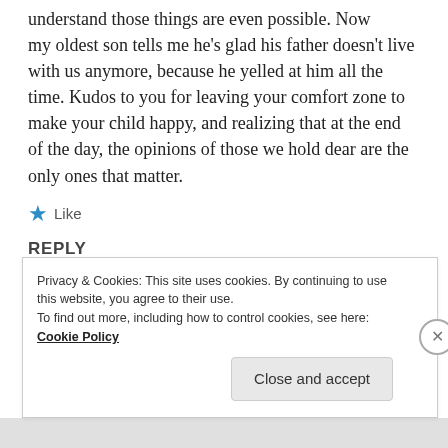understand those things are even possible. Now my oldest son tells me he's glad his father doesn't live with us anymore, because he yelled at him all the time. Kudos to you for leaving your comfort zone to make your child happy, and realizing that at the end of the day, the opinions of those we hold dear are the only ones that matter.
★ Like
REPLY
Privacy & Cookies: This site uses cookies. By continuing to use this website, you agree to their use. To find out more, including how to control cookies, see here: Cookie Policy
Close and accept